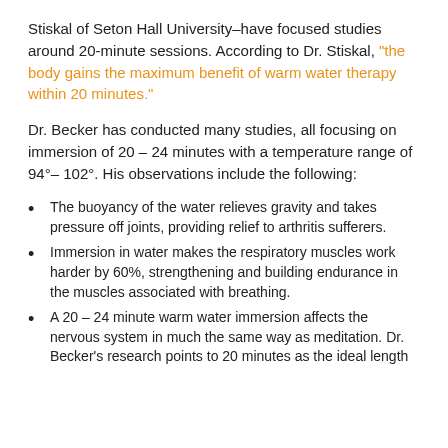Stiskal of Seton Hall University–have focused studies around 20-minute sessions. According to Dr. Stiskal, "the body gains the maximum benefit of warm water therapy within 20 minutes."
Dr. Becker has conducted many studies, all focusing on immersion of 20 – 24 minutes with a temperature range of 94°– 102°. His observations include the following:
The buoyancy of the water relieves gravity and takes pressure off joints, providing relief to arthritis sufferers.
Immersion in water makes the respiratory muscles work harder by 60%, strengthening and building endurance in the muscles associated with breathing.
A 20 – 24 minute warm water immersion affects the nervous system in much the same way as meditation. Dr. Becker's research points to 20 minutes as the ideal length